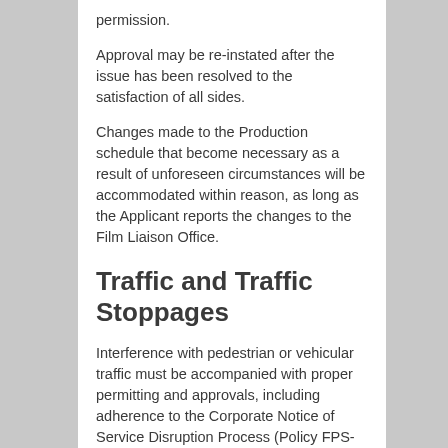permission.
Approval may be re-instated after the issue has been resolved to the satisfaction of all sides.
Changes made to the Production schedule that become necessary as a result of unforeseen circumstances will be accommodated within reason, as long as the Applicant reports the changes to the Film Liaison Office.
Traffic and Traffic Stoppages
Interference with pedestrian or vehicular traffic must be accompanied with proper permitting and approvals, including adherence to the Corporate Notice of Service Disruption Process (Policy FPS-46).